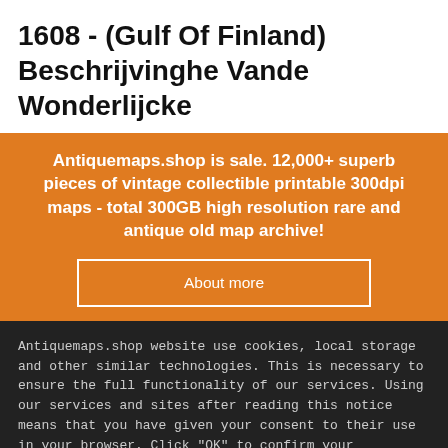1608 - (Gulf Of Finland) Beschrijvinghe Vande Wonderlijcke
Antiquemaps.shop is sale. 12,000+ superb pieces of vintage collectible printable 300dpi maps - total 300GB high resolution rare and antique old map archive!
About more
Antiquemaps.shop website use cookies, local storage and other similar technologies. This is necessary to ensure the full functionality of our services. Using our services and sites after reading this notice means that you have given your consent to their use in your browser. Click "OK" to confirm your agreement
Accept
Cancel